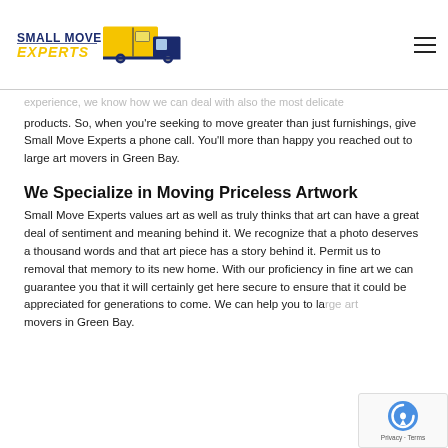[Figure (logo): Small Move Experts logo with yellow truck and dark blue text]
experience, we know how we can deal with also the most delicate products. So, when you're seeking to move greater than just furnishings, give Small Move Experts a phone call. You'll more than happy you reached out to large art movers in Green Bay.
We Specialize in Moving Priceless Artwork
Small Move Experts values art as well as truly thinks that art can have a great deal of sentiment and meaning behind it. We recognize that a photo deserves a thousand words and that art piece has a story behind it. Permit us to removal that memory to its new home. With our proficiency in fine art we can guarantee you that it will certainly get here secure to ensure that it could be appreciated for generations to come. We can help you to large art movers in Green Bay.